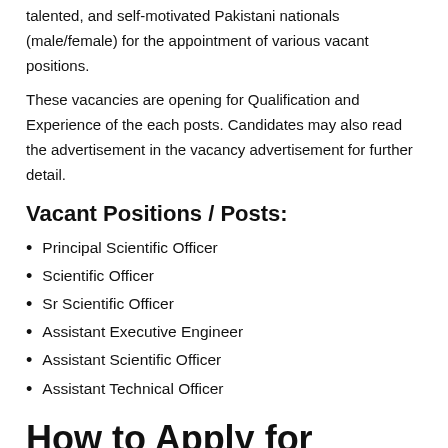talented, and self-motivated Pakistani nationals (male/female) for the appointment of various vacant positions.
These vacancies are opening for Qualification and Experience of the each posts. Candidates may also read the advertisement in the vacancy advertisement for further detail.
Vacant Positions / Posts:
Principal Scientific Officer
Scientific Officer
Sr Scientific Officer
Assistant Executive Engineer
Assistant Scientific Officer
Assistant Technical Officer
How to Apply for Today Jobs 2022